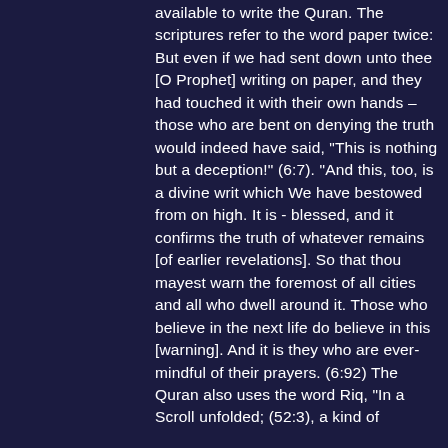available to write the Quran. The scriptures refer to the word paper twice: But even if we had sent down unto thee [O Prophet] writing on paper, and they had touched it with their own hands – those who are bent on denying the truth would indeed have said, "This is nothing but a deception!" (6:7). "And this, too, is a divine writ which We have bestowed from on high. It is - blessed, and it confirms the truth of whatever remains [of earlier revelations]. So that thou mayest warn the foremost of all cities and all who dwell around it. Those who believe in the next life do believe in this [warning]. And it is they who are ever-mindful of their prayers. (6:92) The Quran also uses the word Riq, "In a Scroll unfolded; (52:3), a kind of